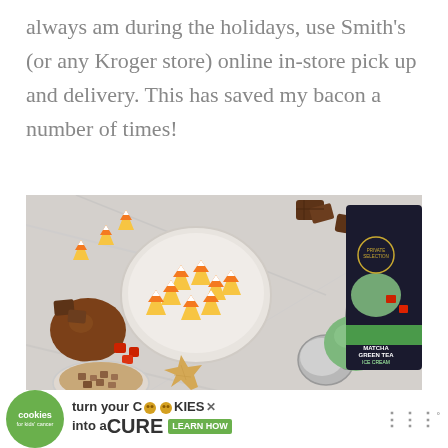always am during the holidays, use Smith's (or any Kroger store) online in-store pick up and delivery. This has saved my bacon a number of times!
[Figure (photo): Overhead flat-lay photo of Halloween/holiday candy and ice cream: a white bowl filled with candy corn, chocolate pieces, a chocolate-covered candy, red gummy candies, a bowl of granola/cereal, a star-shaped cracker/cookie, an ice cream scoop with green ice cream, and a package of Matcha Green Tea ice cream]
[Figure (infographic): Advertisement banner: 'cookies for kids cancer' logo in green circle on left; center text reads 'turn your COOKIES into a CURE LEARN HOW' with a close/X button; right side shows stylized 'W' logo with superscript degree symbol]